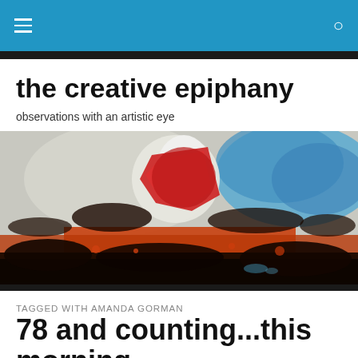the creative epiphany
observations with an artistic eye
[Figure (illustration): Abstract painting with bold reds, oranges, blacks and blues — expressive brushwork suggesting a landscape with dramatic energy]
TAGGED WITH AMANDA GORMAN
78 and counting...this morning